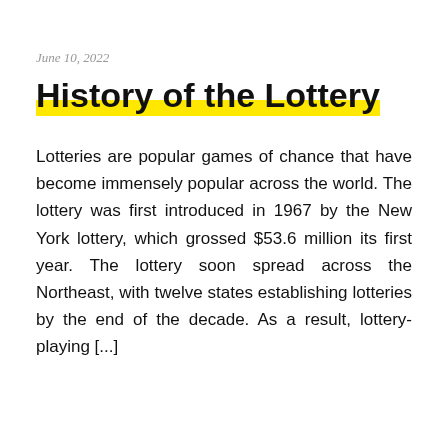June 10, 2022
History of the Lottery
Lotteries are popular games of chance that have become immensely popular across the world. The lottery was first introduced in 1967 by the New York lottery, which grossed $53.6 million its first year. The lottery soon spread across the Northeast, with twelve states establishing lotteries by the end of the decade. As a result, lottery-playing [...]